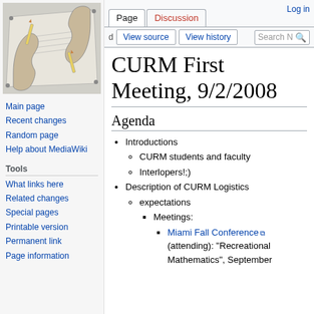[Figure (illustration): Escher-style drawing of two hands drawing each other, pencil sketch style in grayscale]
Main page
Recent changes
Random page
Help about MediaWiki
Tools
What links here
Related changes
Special pages
Printable version
Permanent link
Page information
Log in | Page | Discussion | View source | View history | Search N
CURM First Meeting, 9/2/2008
Agenda
Introductions
CURM students and faculty
Interlopers!;)
Description of CURM Logistics
expectations
Meetings:
Miami Fall Conference (attending): "Recreational Mathematics", September